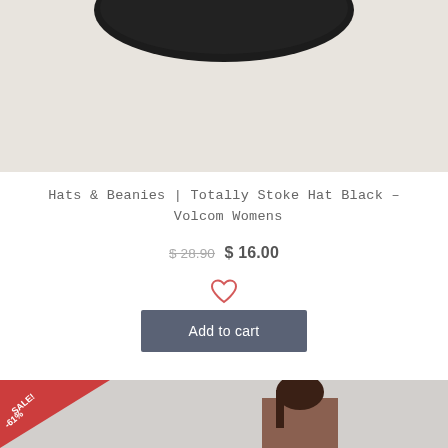[Figure (photo): Top portion of a black hat product photo against a light beige background]
Hats & Beanies | Totally Stoke Hat Black – Volcom Womens
$ 28.90 $ 16.00
[Figure (illustration): Heart/wishlist icon in coral/pink outline style]
Add to cart
[Figure (photo): Second product image thumbnail with SALE! -61% red corner badge and female model partially visible]